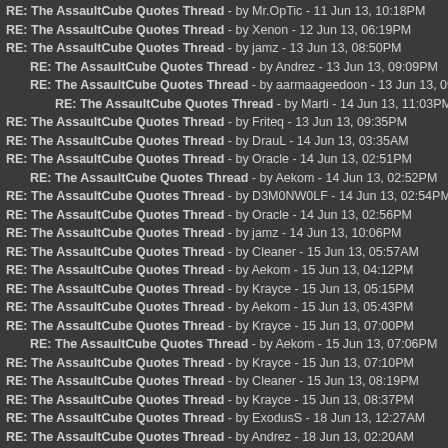RE: The AssaultCube Quotes Thread - by Mr.OpTic - 11 Jun 13, 10:18PM
RE: The AssaultCube Quotes Thread - by Xenon - 12 Jun 13, 06:19PM
RE: The AssaultCube Quotes Thread - by jamz - 13 Jun 13, 08:50PM
RE: The AssaultCube Quotes Thread - by Andrez - 13 Jun 13, 09:09PM
RE: The AssaultCube Quotes Thread - by aarmaageedoon - 13 Jun 13, 09:2
RE: The AssaultCube Quotes Thread - by Marti - 14 Jun 13, 11:03PM
RE: The AssaultCube Quotes Thread - by Friteq - 13 Jun 13, 09:35PM
RE: The AssaultCube Quotes Thread - by DrauL - 14 Jun 13, 03:35AM
RE: The AssaultCube Quotes Thread - by Oracle - 14 Jun 13, 02:51PM
RE: The AssaultCube Quotes Thread - by Aekom - 14 Jun 13, 02:52PM
RE: The AssaultCube Quotes Thread - by D3M0NW0LF - 14 Jun 13, 02:54PM
RE: The AssaultCube Quotes Thread - by Oracle - 14 Jun 13, 02:56PM
RE: The AssaultCube Quotes Thread - by jamz - 14 Jun 13, 10:06PM
RE: The AssaultCube Quotes Thread - by Cleaner - 15 Jun 13, 05:57AM
RE: The AssaultCube Quotes Thread - by Aekom - 15 Jun 13, 04:12PM
RE: The AssaultCube Quotes Thread - by Krayce - 15 Jun 13, 05:15PM
RE: The AssaultCube Quotes Thread - by Aekom - 15 Jun 13, 05:43PM
RE: The AssaultCube Quotes Thread - by Krayce - 15 Jun 13, 07:00PM
RE: The AssaultCube Quotes Thread - by Aekom - 15 Jun 13, 07:06PM
RE: The AssaultCube Quotes Thread - by Krayce - 15 Jun 13, 07:10PM
RE: The AssaultCube Quotes Thread - by Cleaner - 15 Jun 13, 08:19PM
RE: The AssaultCube Quotes Thread - by Krayce - 15 Jun 13, 08:37PM
RE: The AssaultCube Quotes Thread - by ExodusS - 18 Jun 13, 12:27AM
RE: The AssaultCube Quotes Thread - by Andrez - 18 Jun 13, 02:20AM
RE: The AssaultCube Quotes Thread - by Oracle - 18 Jun 13, 09:11PM